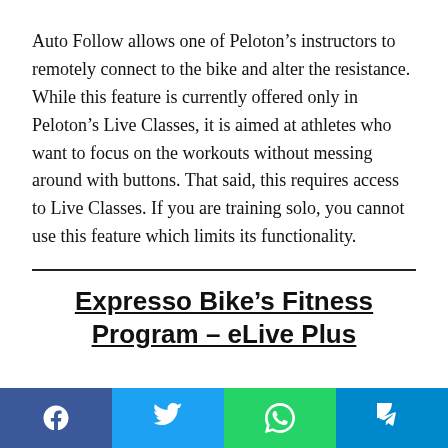Auto Follow allows one of Peloton's instructors to remotely connect to the bike and alter the resistance. While this feature is currently offered only in Peloton's Live Classes, it is aimed at athletes who want to focus on the workouts without messing around with buttons. That said, this requires access to Live Classes. If you are training solo, you cannot use this feature which limits its functionality.
Expresso Bike's Fitness Program – eLive Plus